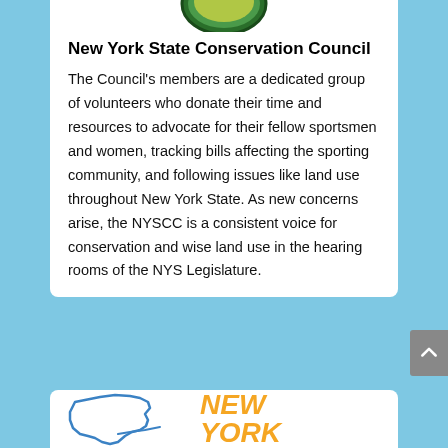[Figure (logo): Partial circular green logo/seal at top of white card]
New York State Conservation Council
The Council's members are a dedicated group of volunteers who donate their time and resources to advocate for their fellow sportsmen and women, tracking bills affecting the sporting community, and following issues like land use throughout New York State. As new concerns arise, the NYSCC is a consistent voice for conservation and wise land use in the hearing rooms of the NYS Legislature.
[Figure (logo): New York State outline in blue with NEW YORK text in orange/gold italic bold font]